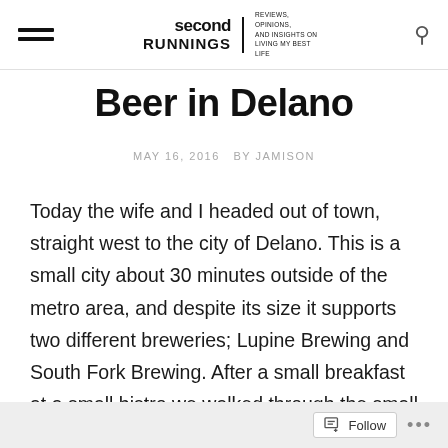second RUNNINGS | REVIEWS, OPINIONS, AND INSIGHTS ON LIVING MY BEST LIFE
Beer in Delano
MAY 16, 2016   BY JAMISON
Today the wife and I headed out of town, straight west to the city of Delano. This is a small city about 30 minutes outside of the metro area, and despite its size it supports two different breweries; Lupine Brewing and South Fork Brewing. After a small breakfast at a small bistro we walked through the small downtown to the first of the two.
Follow ...